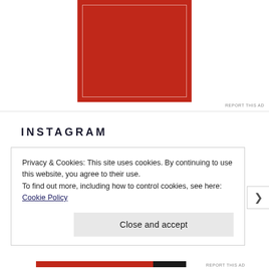[Figure (other): Red advertisement block with inner white border outline, centered in upper portion of page]
INSTAGRAM
Privacy & Cookies: This site uses cookies. By continuing to use this website, you agree to their use.
To find out more, including how to control cookies, see here: Cookie Policy
Close and accept